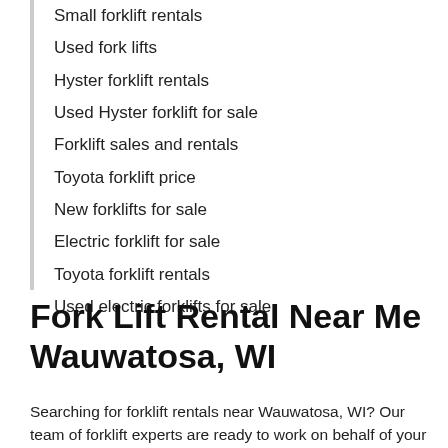Small forklift rentals
Used fork lifts
Hyster forklift rentals
Used Hyster forklift for sale
Forklift sales and rentals
Toyota forklift price
New forklifts for sale
Electric forklift for sale
Toyota forklift rentals
Used electric forklifts for sale
Fork Lift Rental Near Me Wauwatosa, WI
Searching for forklift rentals near Wauwatosa, WI? Our team of forklift experts are ready to work on behalf of your best interests. Submit our quick and easy forklift request form if you need forklift pricing or information from one of the